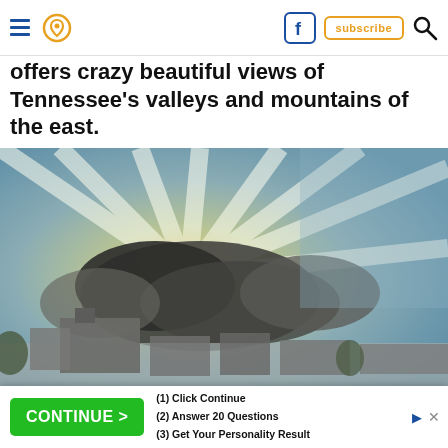Navigation header with hamburger menu, location pin icon, Facebook icon, subscribe button, and search icon
offers crazy beautiful views of Tennessee's valleys and mountains of the east.
[Figure (photo): Dramatic sky with sunrays breaking through dark clouds, building silhouettes visible below. Photo credit: Travis Morissette / Flickr]
Travis Morissette / Flickr
[Figure (screenshot): Advertisement banner with green CONTINUE button, text: (1) Click Continue, (2) Answer 20 Questions, (3) Get Your Personality Result]